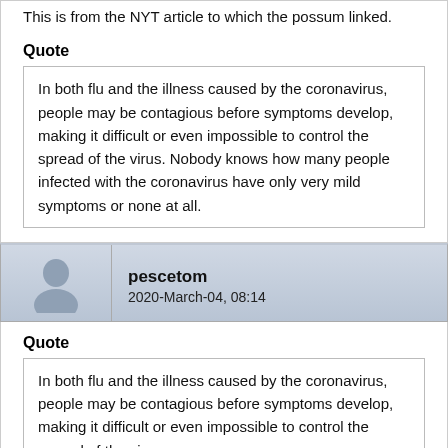This is from the NYT article to which the possum linked.
Quote
In both flu and the illness caused by the coronavirus, people may be contagious before symptoms develop, making it difficult or even impossible to control the spread of the virus. Nobody knows how many people infected with the coronavirus have only very mild symptoms or none at all.
pescetom
2020-March-04, 08:14
Quote
In both flu and the illness caused by the coronavirus, people may be contagious before symptoms develop, making it difficult or even impossible to control the spread of the virus.
Seems reasonable to me: I don’t think that contradicts anything I said.